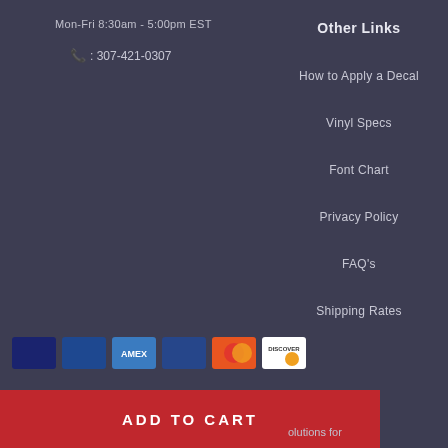Mon-Fri 8:30am - 5:00pm EST
📞 : 307-421-0307
Other Links
How to Apply a Decal
Vinyl Specs
Font Chart
Privacy Policy
FAQ's
Shipping Rates
[Figure (other): Payment method logos: Visa, Mastercard, Discover, American Express and others on dark background]
ADD TO CART
olutions for